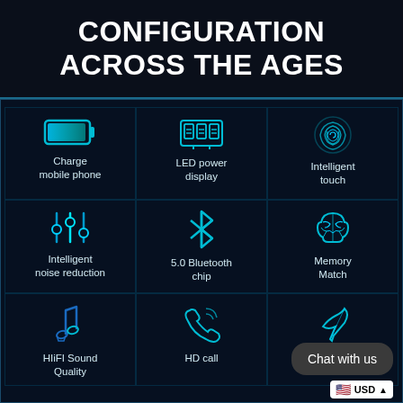CONFIGURATION ACROSS THE AGES
[Figure (infographic): 3x3 grid of product feature icons on dark blue background. Row 1: Battery icon (Charge mobile phone), LED display icon (LED power display), Fingerprint icon (Intelligent touch). Row 2: Audio sliders icon (Intelligent noise reduction), Bluetooth icon (5.0 Bluetooth chip), Brain icon (Memory Match). Row 3: Music note icon (HIiFI Sound Quality), Phone call icon (HD call), Feather icon (partially obscured by chat bubble). Chat with us bubble overlay. USD currency selector in bottom right.]